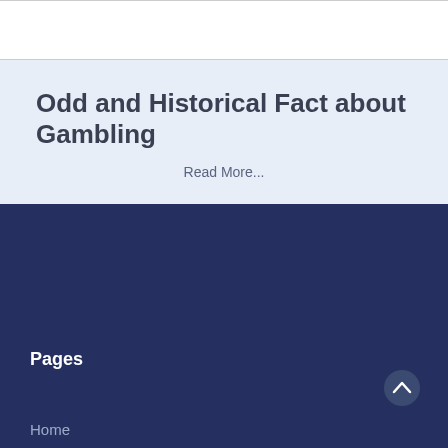Odd and Historical Fact about Gambling
Read More...
Pages
Home